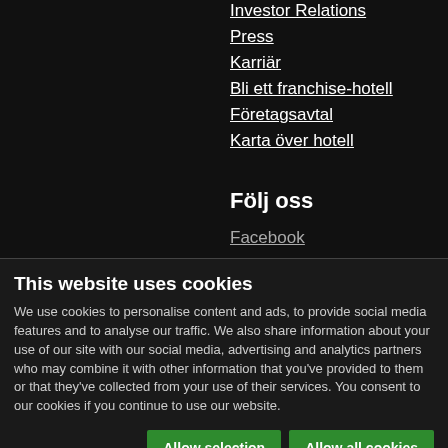Investor Relations
Press
Karriär
Bli ett franchise-hotell
Företagsavtal
Karta över hotell
Följ oss
Facebook
This website uses cookies
We use cookies to personalise content and ads, to provide social media features and to analyse our traffic. We also share information about your use of our site with our social media, advertising and analytics partners who may combine it with other information that you've provided to them or that they've collected from your use of their services. You consent to our cookies if you continue to use our website.
Allow selection | Allow all cookies
Necessary  Preferences  Statistics  Marketing  Show details